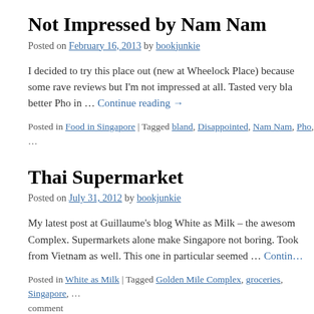Not Impressed by Nam Nam
Posted on February 16, 2013 by bookjunkie
I decided to try this place out (new at Wheelock Place) because some rave reviews but I'm not impressed at all. Tasted very bla better Pho in … Continue reading →
Posted in Food in Singapore | Tagged bland, Disappointed, Nam Nam, Pho, …
Thai Supermarket
Posted on July 31, 2012 by bookjunkie
My latest post at Guillaume's blog White as Milk – the awesom Complex. Supermarkets alone make Singapore not boring. Took from Vietnam as well. This one in particular seemed … Contin…
Posted in White as Milk | Tagged Golden Mile Complex, groceries, Singapore, … comment